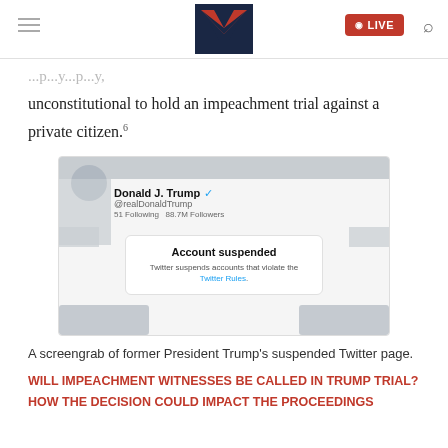Mediaite
unconstitutional to hold an impeachment trial against a private citizen.
[Figure (screenshot): Screenshot of Donald J. Trump's suspended Twitter/X profile page showing 'Account suspended' message. The profile shows '@realDonaldTrump', 51 Following, 88.7M Followers. The account suspended notice reads: 'Account suspended. Twitter suspends accounts that violate the Twitter Rules.']
A screengrab of former President Trump's suspended Twitter page.
WILL IMPEACHMENT WITNESSES BE CALLED IN TRUMP TRIAL? HOW THE DECISION COULD IMPACT THE PROCEEDINGS